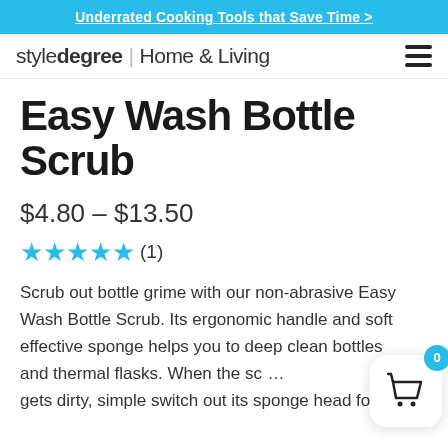Underrated Cooking Tools that Save Time >
styledegree | Home & Living
Easy Wash Bottle Scrub
$4.80 – $13.50
★★★★★ (1)
Scrub out bottle grime with our non-abrasive Easy Wash Bottle Scrub. Its ergonomic handle and soft effective sponge helps you to deep clean bottles and thermal flasks. When the scrub gets dirty, simple switch out its sponge head for